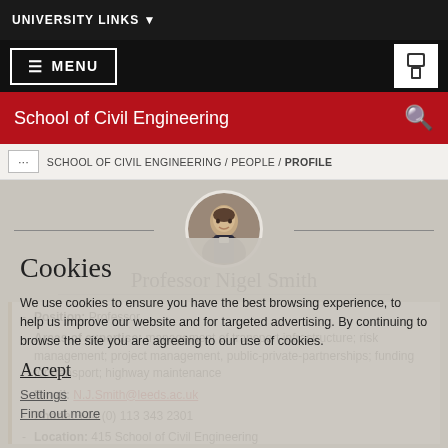UNIVERSITY LINKS
MENU
School of Civil Engineering
SCHOOL OF CIVIL ENGINEERING / PEOPLE / PROFILE
[Figure (photo): Circular profile photo of Professor Nigel Smith, a man in a suit.]
Professor Nigel Smith
Position: Professor
Areas of expertise: management of transport infrastructure; risk management; project management, public-private-partnerships; funding for transport; highway maintenance
Email: N.J.Smith@leeds.ac.uk
Phone: +44 (0) 113 343 2301
Location: 415 School of Civil Engineering
Cookies
We use cookies to ensure you have the best browsing experience, to help us improve our website and for targeted advertising. By continuing to browse the site you are agreeing to our use of cookies.
Accept
Settings
Find out more